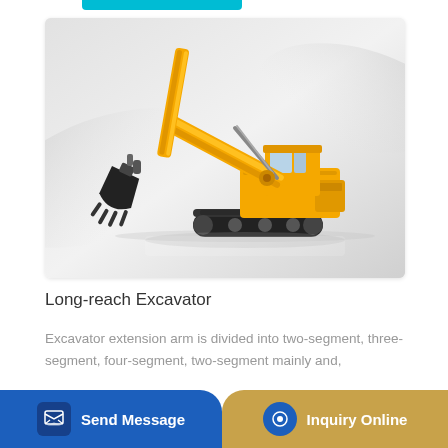[Figure (photo): Yellow long-reach excavator with extended multi-segment arm and bucket, shown on a light grey gradient background. The excavator has black tracks, yellow body and cab, and a very long boom/arm reaching upward and forward.]
Long-reach Excavator
Excavator extension arm is divided into two-segment, three-segment, four-segment, two-segment mainly and,